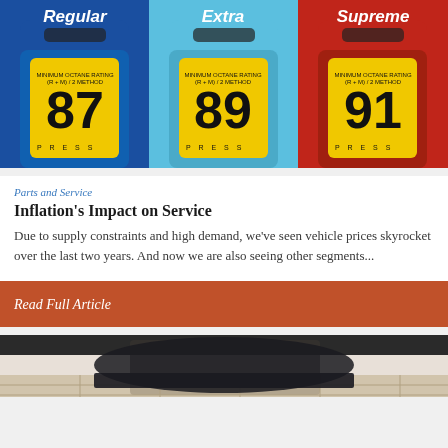[Figure (photo): Three gas pump buttons labeled Regular (87), Extra (89), Supreme (91) with yellow octane rating labels against blue, light blue, and red backgrounds]
Parts and Service
Inflation's Impact on Service
Due to supply constraints and high demand, we've seen vehicle prices skyrocket over the last two years. And now we are also seeing other segments...
Read Full Article
[Figure (photo): Partial view of a car on a tiled surface, dark background]